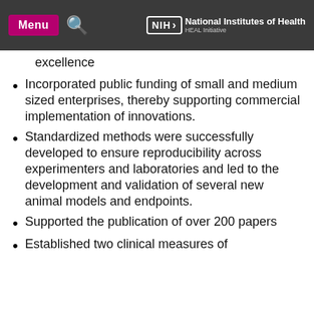Menu | NIH National Institutes of Health HEAL Initiative
excellence
Incorporated public funding of small and medium sized enterprises, thereby supporting commercial implementation of innovations.
Standardized methods were successfully developed to ensure reproducibility across experimenters and laboratories and led to the development and validation of several new animal models and endpoints.
Supported the publication of over 200 papers
Established two clinical measures of